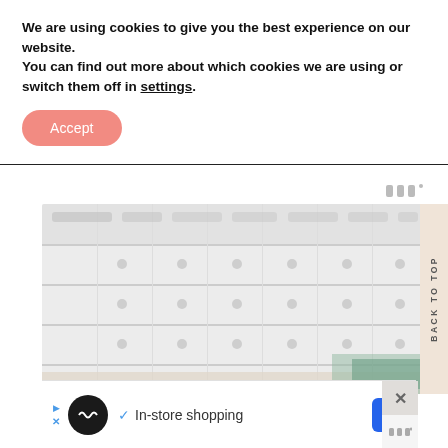We are using cookies to give you the best experience on our website.
You can find out more about which cookies we are using or switch them off in settings.
Accept
[Figure (screenshot): Blurred website content showing a calendar-like grid and jewelry/bracelet image beneath, with a 'BACK TO TOP' sidebar tab on the right, a logo mark in the upper right, and an ad bar at the bottom reading 'In-store shopping']